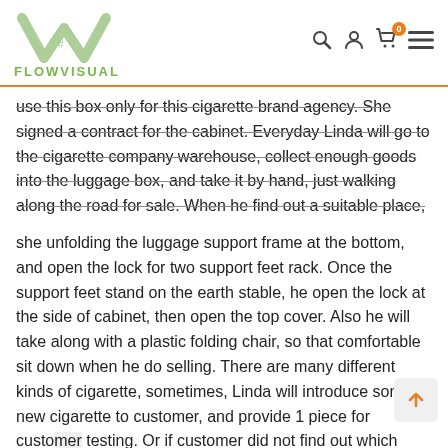[Figure (logo): FlowVisual logo: green checkmark-style graphic with grid symbol and text FLOWVISUAL in green]
use this box only for this cigarette brand agency. She signed a contract for the cabinet. Everyday Linda will go to the cigarette company warehouse, collect enough goods into the luggage box, and take it by hand, just walking along the road for sale. When he find out a suitable place,
she unfolding the luggage support frame at the bottom, and open the lock for two support feet rack. Once the support feet stand on the earth stable, he open the lock at the side of cabinet, then open the top cover. Also he will take along with a plastic folding chair, so that comfortable sit down when he do selling. There are many different kinds of cigarette, sometimes, Linda will introduce some new cigarette to customer, and provide 1 piece for customer testing. Or if customer did not find out which they like, Linda will also make record, even get the contact number